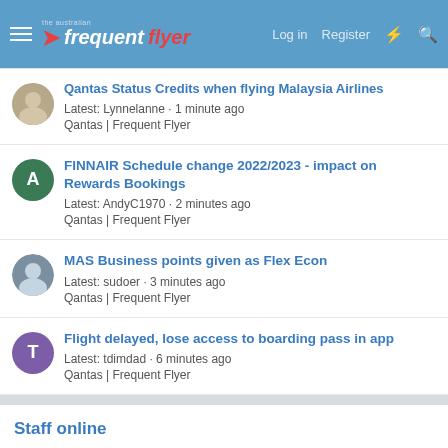the australian frequent flyer — Log in · Register
Qantas Status Credits when flying Malaysia Airlines
Latest: Lynnelanne · 1 minute ago
Qantas | Frequent Flyer
FINNAIR Schedule change 2022/2023 - impact on Rewards Bookings
Latest: AndyC1970 · 2 minutes ago
Qantas | Frequent Flyer
MAS Business points given as Flex Econ
Latest: sudoer · 3 minutes ago
Qantas | Frequent Flyer
Flight delayed, lose access to boarding pass in app
Latest: tdimdad · 6 minutes ago
Qantas | Frequent Flyer
Staff online
NM
Enthusiast
Admin